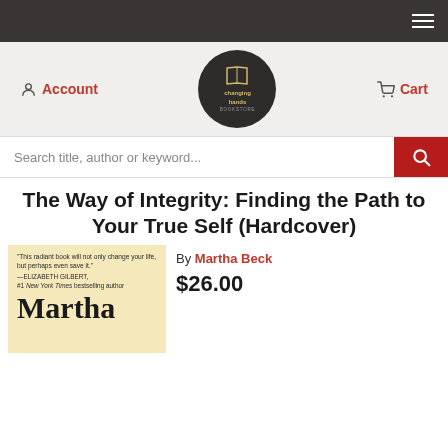Navigation bar with hamburger menu
[Figure (logo): Changing Hands Bookstore circular logo with book icon and gold text on dark background]
Account
Cart
Search title, author or keyword...
The Way of Integrity: Finding the Path to Your True Self (Hardcover)
[Figure (photo): Book cover of The Way of Integrity showing a quote from Elizabeth Gilbert and the author name Martha Beck in large serif font on a yellowish background]
By Martha Beck
$26.00